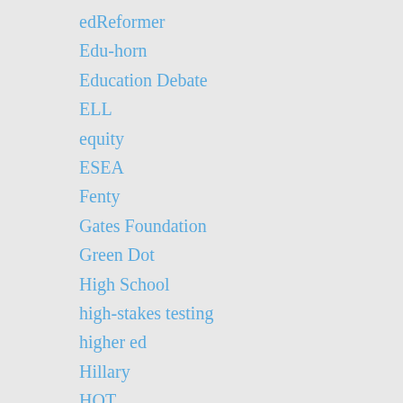edReformer
Edu-horn
Education Debate
ELL
equity
ESEA
Fenty
Gates Foundation
Green Dot
High School
high-stakes testing
higher ed
Hillary
HQT
i3
IES
Immigration
international benchmarking
John McCain
LAUSD